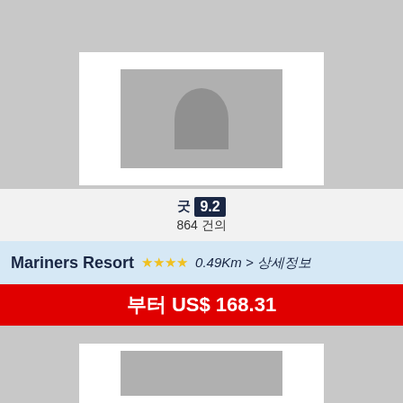[Figure (photo): Placeholder hotel image with white border frame and gray background, top card]
굿 9.2
864 건의
Mariners Resort ☆☆☆☆ 0.49Km > 상세정보
부터 US$ 168.31
[Figure (photo): Placeholder hotel image with white border frame and gray background, bottom card (partially visible)]